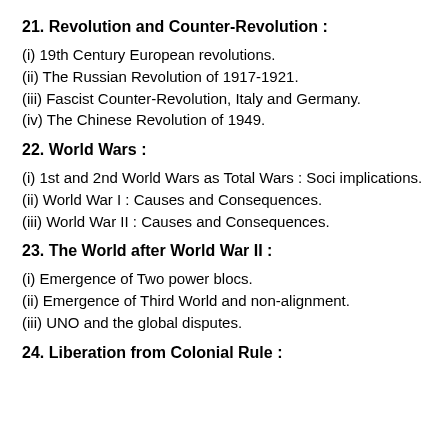21. Revolution and Counter-Revolution :
(i) 19th Century European revolutions.
(ii) The Russian Revolution of 1917-1921.
(iii) Fascist Counter-Revolution, Italy and Germany.
(iv) The Chinese Revolution of 1949.
22. World Wars :
(i) 1st and 2nd World Wars as Total Wars : Soci implications.
(ii) World War I : Causes and Consequences.
(iii) World War II : Causes and Consequences.
23. The World after World War II :
(i) Emergence of Two power blocs.
(ii) Emergence of Third World and non-alignment.
(iii) UNO and the global disputes.
24. Liberation from Colonial Rule :